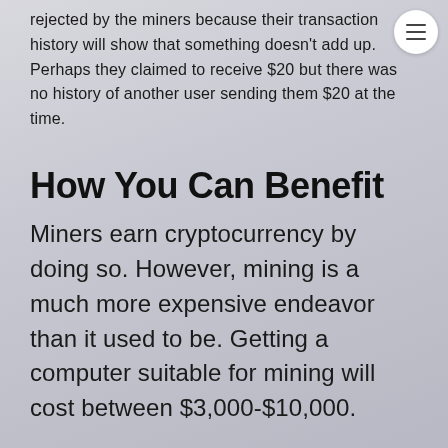rejected by the miners because their transaction history will show that something doesn't add up. Perhaps they claimed to receive $20 but there was no history of another user sending them $20 at the time.
How You Can Benefit
Miners earn cryptocurrency by doing so. However, mining is a much more expensive endeavor than it used to be. Getting a computer suitable for mining will cost between $3,000-$10,000.
With that being said, it can be a very profitable endeavor for those who make the investment.
Mining is also one of the processes that helps make cryptocurrency secure. Without mining, there would be no